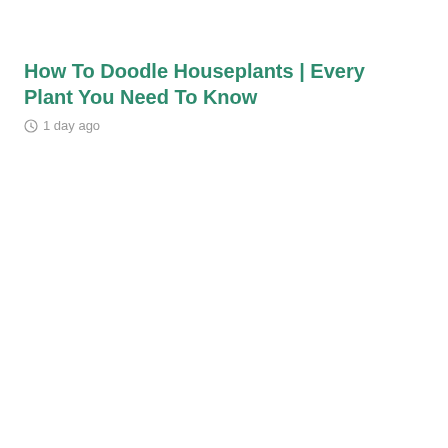How To Doodle Houseplants | Every Plant You Need To Know
1 day ago